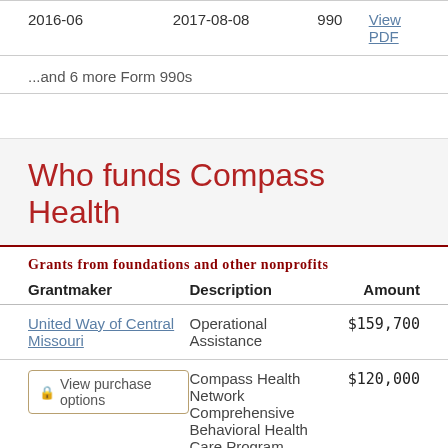|  |  |  |  |
| --- | --- | --- | --- |
| 2016-06 | 2017-08-08 | 990 | View PDF |
...and 6 more Form 990s
Who funds Compass Health
Grants from foundations and other nonprofits
| Grantmaker | Description | Amount |
| --- | --- | --- |
| United Way of Central Missouri | Operational Assistance | $159,700 |
| [View purchase options] | Compass Health Network Comprehensive Behavioral Health Care Program... | $120,000 |